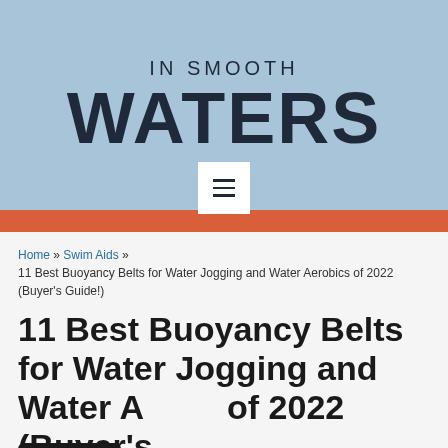IN SMOOTH WATERS
11 Best Buoyancy Belts for Water Jogging and Water Aerobics of 2022 (Buyer's Guide!)
Home » Swim Aids » 11 Best Buoyancy Belts for Water Jogging and Water Aerobics of 2022 (Buyer's Guide!)
[Figure (other): Language selector badge showing US flag and 'English' text]